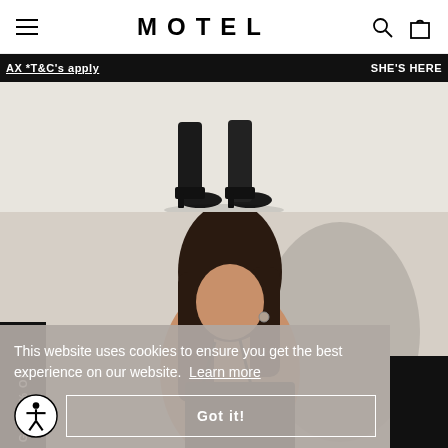MOTEL
AX *T&C's apply   SHE'S HERE
[Figure (photo): Black ankle boots/heels on white/cream background, bottom portion visible]
[Figure (photo): Young woman with long dark hair wearing a black strappy dress/bodysuit, photographed from behind/side against white wall with shadow]
Get 15% Off
This website uses cookies to ensure you get the best experience on our website. Learn more
Got it!